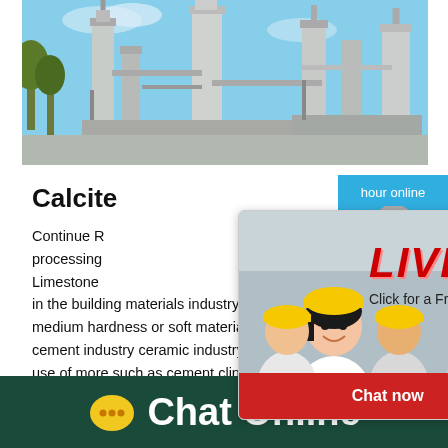[Figure (photo): Industrial factory/plant with tall columns, pipes, and structures against a blue sky with trees on the left]
Calcite
Continue R... processing Limestone in the building materials industry for fine medium hardness or soft materials especia cement industry ceramic industry power s use of more such as cement clinker limest
[Figure (screenshot): Live chat popup overlay with workers in yellow hard hats on left, red LIVE CHAT title, 'Click for a Free Consultation' subtitle, 'Chat now' (red) and 'Chat later' (dark) buttons]
[Figure (screenshot): Blue sidebar panel with 'hour online' text, image of cone crusher machine, and 'Click me to chat>>' button]
Chat Online